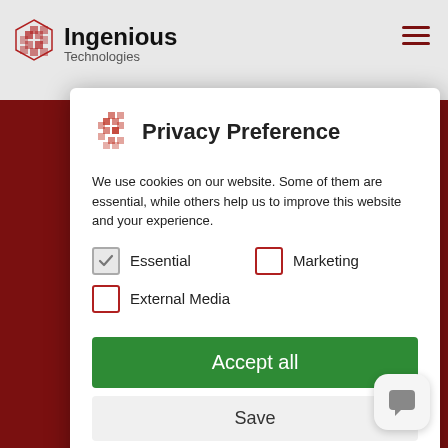Ingenious Technologies
[Figure (screenshot): Privacy Preference modal dialog with Ingenious Technologies logo, cookie consent checkboxes (Essential checked, Marketing and External Media unchecked), Accept all button, Save button, and links for Cookie Details, Privacy Policy, Imprint]
Privacy Preference
We use cookies on our website. Some of them are essential, while others help us to improve this website and your experience.
Essential (checked)
Marketing (unchecked)
External Media (unchecked)
Accept all
Save
Cookie Details | Privacy Policy | Imprint